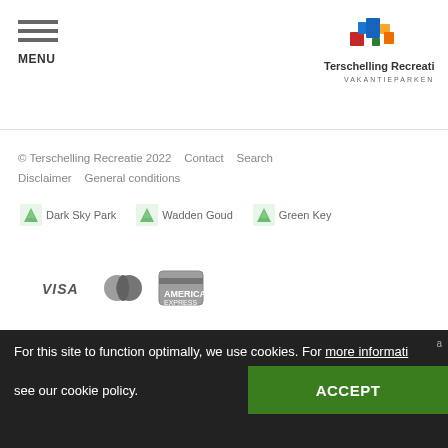MENU | Terschelling Recreatie VAKANTIEPARKEN
© Terschelling Recreatie 2022  Contact  Search  Disclaimer  General conditions
[Figure (logo): Dark Sky Park badge icon with label]
[Figure (logo): Wadden Goud badge icon with label]
[Figure (logo): Green Key badge icon with label]
[Figure (logo): VISA payment icon]
[Figure (logo): Mastercard payment icon]
[Figure (logo): American Express payment icon]
For this site to function optimally, we use cookies. For more informati see our cookie policy.
ACCEPT